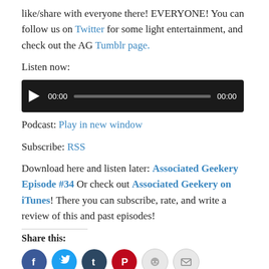like/share with everyone there! EVERYONE! You can follow us on Twitter for some light entertainment, and check out the AG Tumblr page.
Listen now:
[Figure (other): Audio player widget with play button, progress bar, and timestamps showing 00:00 on both sides]
Podcast: Play in new window
Subscribe: RSS
Download here and listen later: Associated Geekery Episode #34 Or check out Associated Geekery on iTunes! There you can subscribe, rate, and write a review of this and past episodes!
Share this:
[Figure (infographic): Six social sharing icon circles: Facebook (blue), Twitter (light blue), Tumblr (dark blue), Pinterest (red), Reddit (light gray), Email (light gray)]